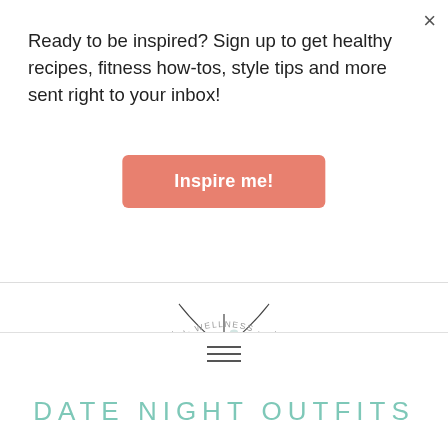Ready to be inspired? Sign up to get healthy recipes, fitness how-tos, style tips and more sent right to your inbox!
Inspire me!
[Figure (logo): Lifestyle blog logo with botanical line art illustration, text reading LIFESTYLE BLOG and curved text FASHION· WELLNESS · BEAUTY]
≡ (hamburger menu icon)
DATE NIGHT OUTFITS